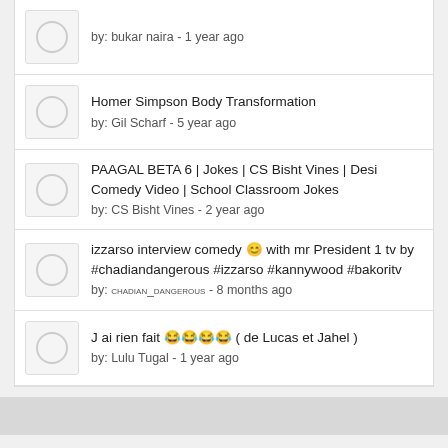by: bukar naira - 1 year ago
Homer Simpson Body Transformation
by: Gil Scharf - 5 year ago
PAAGAL BETA 6 | Jokes | CS Bisht Vines | Desi Comedy Video | School Classroom Jokes
by: CS Bisht Vines - 2 year ago
izzarso interview comedy 😊 with mr President 1 tv by #chadiandangerous #izzarso #kannywood #bakoritv
by: CHADIAN_DANGEROUS - 8 months ago
J ai rien fait 😂😂😂😂 ( de Lucas et Jahel )
by: Lulu Tugal - 1 year ago
© Copyright 2022 • Codedfilm • All Rights Reserved